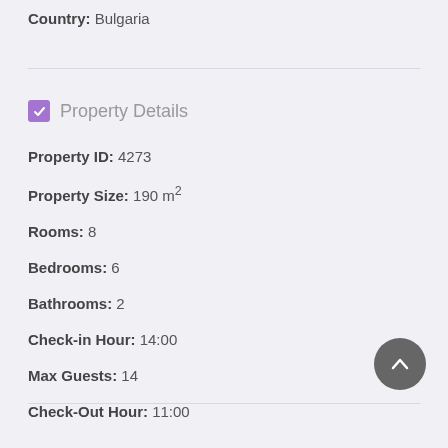Country: Bulgaria
Property Details
Property ID: 4273
Property Size: 190 m²
Rooms: 8
Bedrooms: 6
Bathrooms: 2
Check-in Hour: 14:00
Max Guests: 14
Check-Out Hour: 11:00